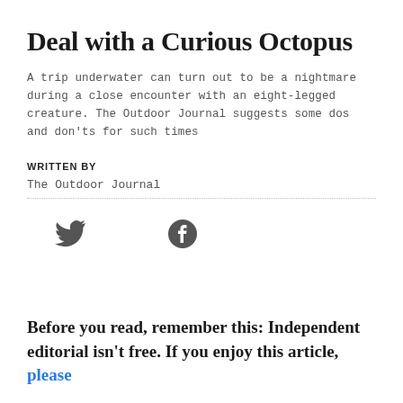Deal with a Curious Octopus
A trip underwater can turn out to be a nightmare during a close encounter with an eight-legged creature. The Outdoor Journal suggests some dos and don'ts for such times
WRITTEN BY
The Outdoor Journal
[Figure (infographic): Twitter bird icon and Facebook circle icon as social share buttons]
Before you read, remember this: Independent editorial isn't free. If you enjoy this article, please